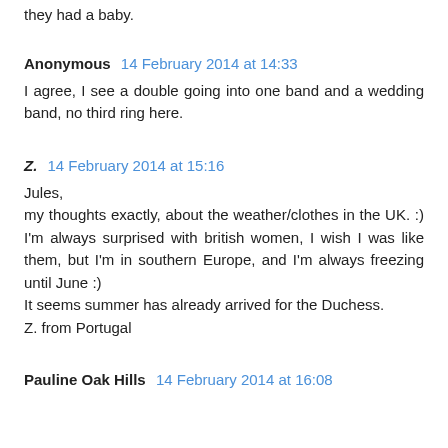they had a baby.
Anonymous  14 February 2014 at 14:33
I agree, I see a double going into one band and a wedding band, no third ring here.
Z.  14 February 2014 at 15:16
Jules,
my thoughts exactly, about the weather/clothes in the UK. :) I'm always surprised with british women, I wish I was like them, but I'm in southern Europe, and I'm always freezing until June :)
It seems summer has already arrived for the Duchess.
Z. from Portugal
Pauline Oak Hills  14 February 2014 at 16:08